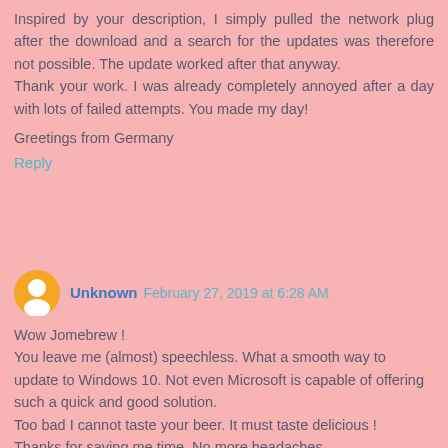Inspired by your description, I simply pulled the network plug after the download and a search for the updates was therefore not possible. The update worked after that anyway.
Thank your work. I was already completely annoyed after a day with lots of failed attempts. You made my day!
Greetings from Germany
Reply
Unknown  February 27, 2019 at 6:28 AM
Wow Jomebrew !
You leave me (almost) speechless. What a smooth way to update to Windows 10. Not even Microsoft is capable of offering such a quick and good solution.
Too bad I cannot taste your beer. It must taste delicious !
Thanks for saving me time. No more headaches.
Cheers